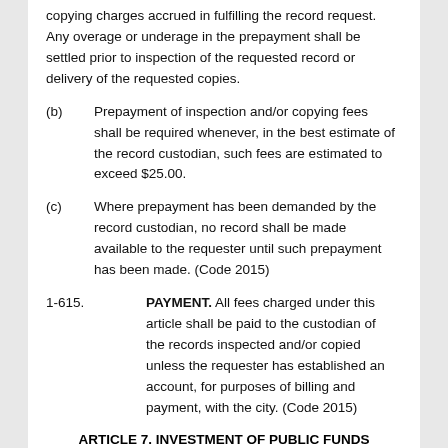copying charges accrued in fulfilling the record request. Any overage or underage in the prepayment shall be settled prior to inspection of the requested record or delivery of the requested copies.
(b)    Prepayment of inspection and/or copying fees shall be required whenever, in the best estimate of the record custodian, such fees are estimated to exceed $25.00.
(c)    Where prepayment has been demanded by the record custodian, no record shall be made available to the requester until such prepayment has been made. (Code 2015)
1-615.              PAYMENT.  All fees charged under this article shall be paid to the custodian of the records inspected and/or copied unless the requester has established an account, for purposes of billing and payment, with the city. (Code 2015)
ARTICLE 7.  INVESTMENT OF PUBLIC FUNDS